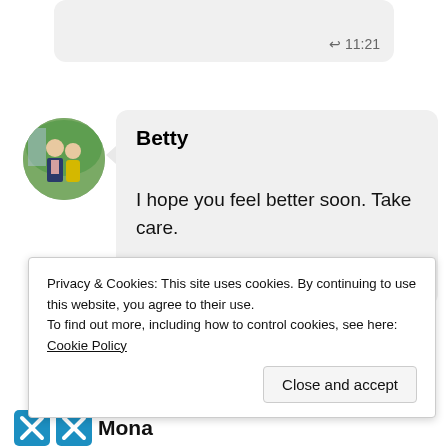[Figure (screenshot): Top portion of a previous message bubble (grey background, rounded corners, partially visible with a reply arrow icon at bottom right)]
[Figure (photo): Circular avatar photo of two people (a man in a dark suit and a woman in a yellow dress) standing together outdoors]
Betty
I hope you feel better soon. Take care.
★ Liked by 1 person
Privacy & Cookies: This site uses cookies. By continuing to use this website, you agree to their use.
To find out more, including how to control cookies, see here: Cookie Policy
Close and accept
Mona